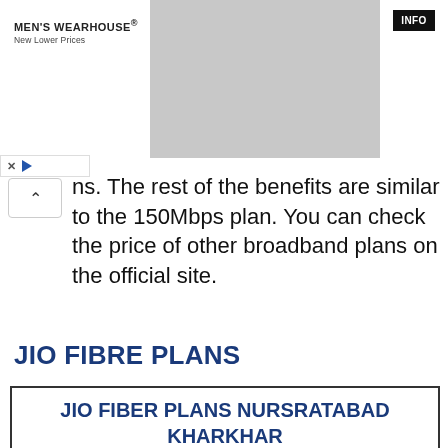[Figure (photo): Men's Wearhouse advertisement banner showing a couple in formal wear and a man in a tuxedo. Includes brand name, tagline 'New Lower Prices', and an INFO button.]
ns. The rest of the benefits are similar to the 150Mbps plan. You can check the price of other broadband plans on the official site.
JIO FIBRE PLANS
| Plans | Prize | Speed | Data Limit |
| --- | --- | --- | --- |
| BRONZE | Rs 399 | 30 | Unlimited (No OTT Apps |